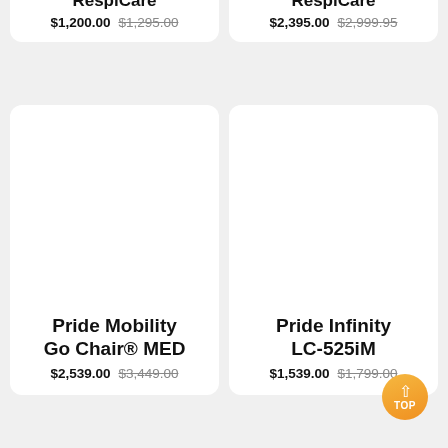RespiCare [cropped title] $1,200.00 $1,295.00
RespiCare [cropped title] $2,395.00 $2,999.95
[Figure (photo): Product image area — blank white (image not loaded)]
Pride Mobility Go Chair® MED $2,539.00 $3,449.00
[Figure (photo): Product image area — blank white (image not loaded)]
Pride Infinity LC-525iM $1,539.00 $1,799.00